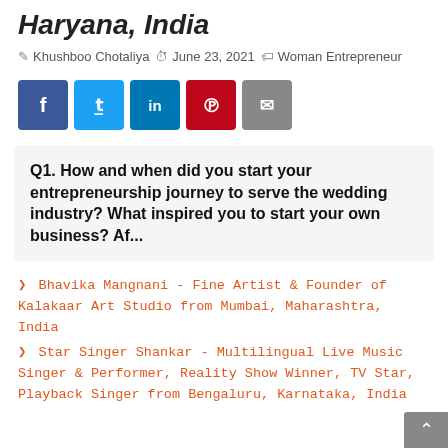Haryana, India
Khushboo Chotaliya   June 23, 2021   Woman Entrepreneur
[Figure (infographic): Social share buttons: Facebook (blue), Twitter (light blue), LinkedIn (blue), Pinterest (red), Email (gray)]
Q1. How and when did you start your entrepreneurship journey to serve the wedding industry? What inspired you to start your own business? Af...
Bhavika Mangnani - Fine Artist & Founder of Kalakaar Art Studio from Mumbai, Maharashtra, India
Star Singer Shankar - Multilingual Live Music Singer & Performer, Reality Show Winner, TV Star, Playback Singer from Bengaluru, Karnataka, India